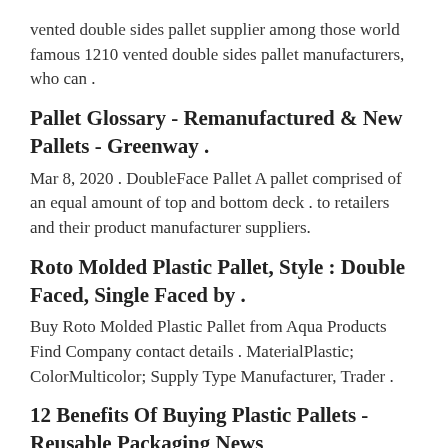vented double sides pallet supplier among those world famous 1210 vented double sides pallet manufacturers, who can .
Pallet Glossary - Remanufactured & New Pallets - Greenway .
Mar 8, 2020 . DoubleFace Pallet A pallet comprised of an equal amount of top and bottom deck . to retailers and their product manufacturer suppliers.
Roto Molded Plastic Pallet, Style : Double Faced, Single Faced by .
Buy Roto Molded Plastic Pallet from Aqua Products Find Company contact details . MaterialPlastic; ColorMulticolor; Supply Type Manufacturer, Trader .
12 Benefits Of Buying Plastic Pallets - Reusable Packaging News
Jan 11, 2020 . Plastic pallets offer a range of desirable